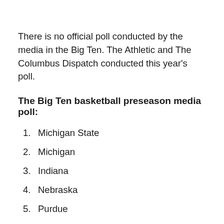There is no official poll conducted by the media in the Big Ten. The Athletic and The Columbus Dispatch conducted this year’s poll.
The Big Ten basketball preseason media poll:
1. Michigan State
2. Michigan
3. Indiana
4. Nebraska
5. Purdue
6. Wisconsin
7. Maryland